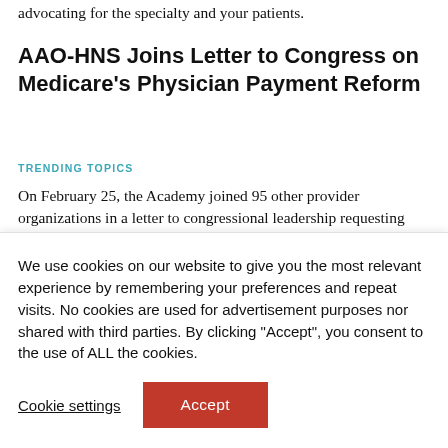advocating for the specialty and your patients.
AAO-HNS Joins Letter to Congress on Medicare's Physician Payment Reform
TRENDING TOPICS
On February 25, the Academy joined 95 other provider organizations in a letter to congressional leadership requesting that Congress take steps to immediately and
We use cookies on our website to give you the most relevant experience by remembering your preferences and repeat visits. No cookies are used for advertisement purposes nor shared with third parties. By clicking “Accept”, you consent to the use of ALL the cookies.
Cookie settings
Accept